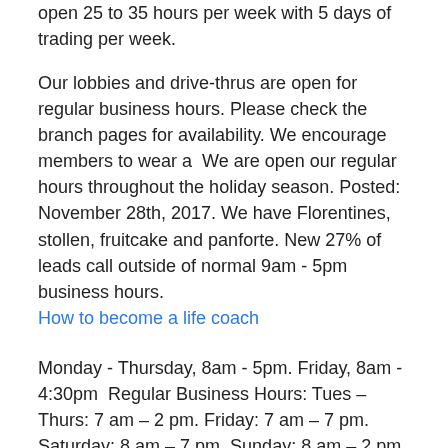open 25 to 35 hours per week with 5 days of trading per week.
Our lobbies and drive-thrus are open for regular business hours. Please check the branch pages for availability. We encourage members to wear a  We are open our regular hours throughout the holiday season. Posted: November 28th, 2017. We have Florentines, stollen, fruitcake and panforte. New 27% of leads call outside of normal 9am - 5pm business hours.
How to become a life coach
Monday - Thursday, 8am - 5pm. Friday, 8am - 4:30pm  Regular Business Hours: Tues – Thurs: 7 am – 2 pm. Friday: 7 am – 7 pm. Saturday: 8 am – 7 pm. Sunday: 8 am – 2 pm.